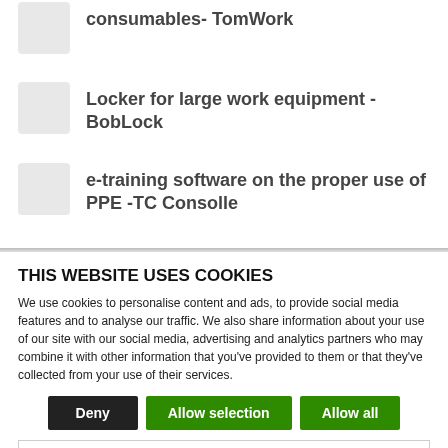consumables- TomWork
Locker for large work equipment - BobLock
e-training software on the proper use of PPE -TC Consolle
THIS WEBSITE USES COOKIES
We use cookies to personalise content and ads, to provide social media features and to analyse our traffic. We also share information about your use of our site with our social media, advertising and analytics partners who may combine it with other information that you've provided to them or that they've collected from your use of their services.
Deny | Allow selection | Allow all
Necessary | Preferences | Statistics | Marketing | Show details